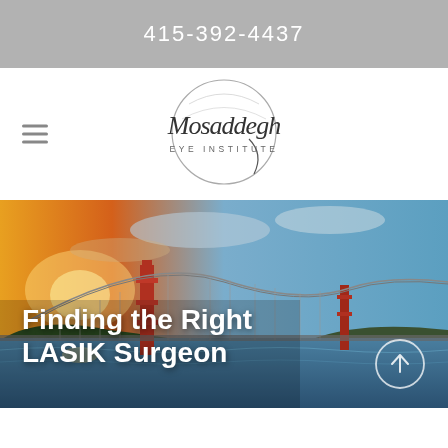415-392-4437
[Figure (logo): Mosaddegh Eye Institute circular logo with script lettering]
Finding the Right LASIK Surgeon
[Figure (photo): Golden Gate Bridge at sunset with dramatic sky, hero banner image]